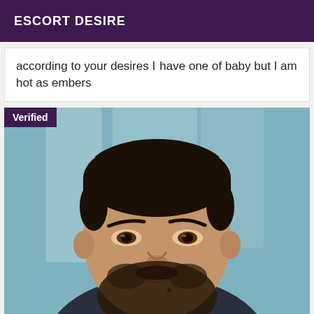ESCORT DESIRE
according to your desires I have one of baby but I am hot as embers
[Figure (photo): Verified profile photo of a man with short dark hair and a beard, wearing a dark blue sweater and jacket, photographed in a selfie style against a blurred teal/glass background. A 'Verified' badge appears in the top-left corner.]